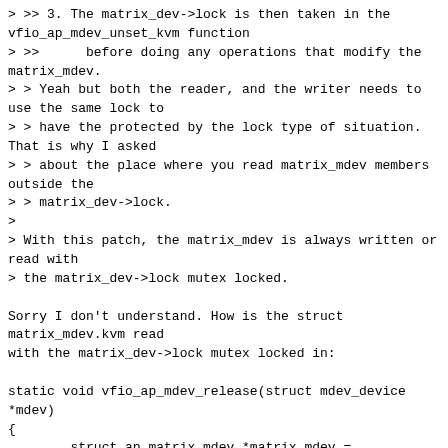> >> 3. The matrix_dev->lock is then taken in the vfio_ap_mdev_unset_kvm function
> >>      before doing any operations that modify the matrix_mdev.
> > Yeah but both the reader, and the writer needs to use the same lock to
> > have the protected by the lock type of situation. That is why I asked
> > about the place where you read matrix_mdev members outside the
> > matrix_dev->lock.
>
> With this patch, the matrix_mdev is always written or read with
> the matrix_dev->lock mutex locked.

Sorry I don't understand. How is the struct matrix_mdev.kvm read
with the matrix_dev->lock mutex locked in:
static void vfio_ap_mdev_release(struct mdev_device *mdev)
{
        struct ap_matrix_mdev *matrix_mdev =
mdev_get_drvdata(mdev);

        vfio_unregister_notifier(mdev_dev(mdev),
VFIO_IOMMU_NOTIFY,
                                &matrix_mdev->iommu_notifier);